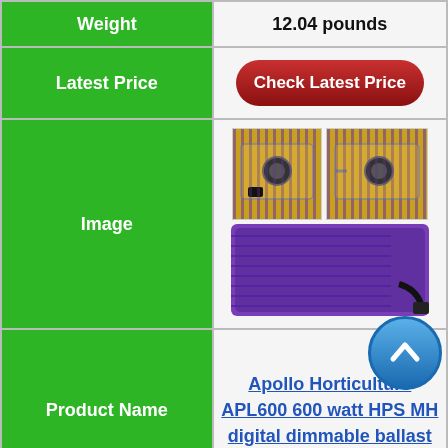| Field | Value |
| --- | --- |
| Weight | 12.04 pounds |
| Latest Price | Check Latest Price |
| Image | [product images] |
| Product Name | Apollo Horticulture APL600 600 watt HPS MH digital dimmable ballast |
| Watts | 600 Watt |
| Weight | 5.7 pounds |
| Latest Price |  |